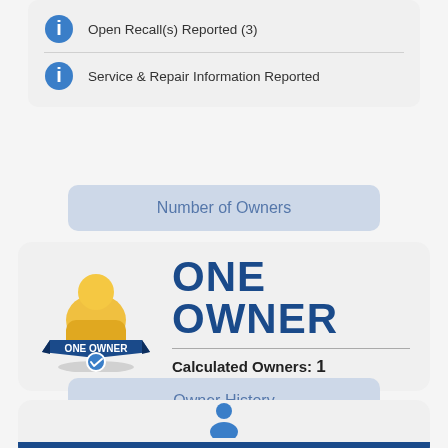Open Recall(s) Reported (3)
Service & Repair Information Reported
Number of Owners
[Figure (infographic): One Owner badge: golden person figure with 'ONE OWNER' ribbon and blue checkmark badge]
ONE OWNER
Calculated Owners: 1
Owner History
[Figure (infographic): Blue person silhouette icon above Current Owner bar]
Current Owner